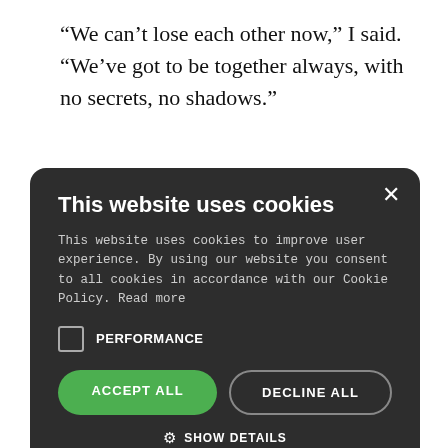“We can’t lose each other now,” I said. “We’ve got to be together always, with no secrets, no shadows.”
[Figure (screenshot): Cookie consent modal dialog with dark background. Title: 'This website uses cookies'. Body text: 'This website uses cookies to improve user experience. By using our website you consent to all cookies in accordance with our Cookie Policy. Read more'. Checkbox labeled PERFORMANCE. Two buttons: ACCEPT ALL (green) and DECLINE ALL (outlined). SHOW DETAILS link with gear icon. Footer: POWERED BY COOKIE-SCRIPT.]
or at ees. He ran from his roking
away. She has be loyal. She ecrets. She’ll ls the bargain she has made.